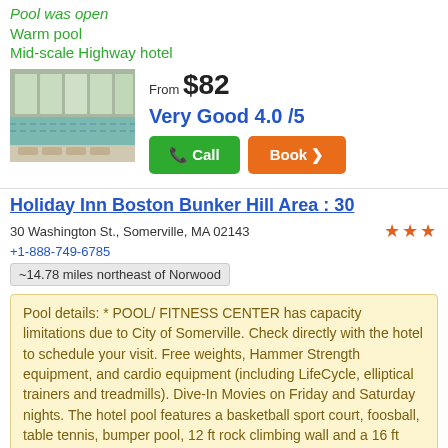Pool was open
Warm pool
Mid-scale Highway hotel
[Figure (photo): Indoor hotel pool with large windows and lounge chairs]
From $82
Very Good 4.0 /5
Holiday Inn Boston Bunker Hill Area : 30
30 Washington St., Somerville, MA 02143
+1-888-749-6785
~14.78 miles northeast of Norwood
Pool details: * POOL/ FITNESS CENTER has capacity limitations due to City of Somerville. Check directly with the hotel to schedule your visit. Free weights, Hammer Strength equipment, and cardio equipment (including LifeCycle, elliptical trainers and treadmills). Dive-In Movies on Friday and Saturday nights. The hotel pool features a basketball sport court, foosball, table tennis, bumper pool, 12 ft rock climbing wall and a 16 ft projection TV for